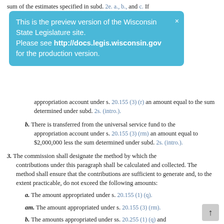sum of the estimates specified in subd. 2e. a., b., and c. If
[Figure (other): Preview banner overlay: 'This is the preview version of the Wisconsin State Legislature site. Please see http://docs.legis.wisconsin.gov for the production version.' with close X button.]
appropriation account under s. 20.155 (3) (r) an amount equal to the sum determined under subd. 2s. (intro.).
b. There is transferred from the universal service fund to the appropriation account under s. 20.155 (3) (rm) an amount equal to $2,000,000 less the sum determined under subd. 2s. (intro.).
3. The commission shall designate the method by which the contributions under this paragraph shall be calculated and collected. The method shall ensure that the contributions are sufficient to generate and, to the extent practicable, do not exceed the following amounts:
a. The amount appropriated under s. 20.155 (1) (q).
am. The amount appropriated under s. 20.155 (3) (rm).
b. The amounts appropriated under ss. 20.255 (1) (q) and (3) (q), (qm), and (r), 20.285 (1) (q), and 20.505 (4) (s).
3m. Contributions under this paragraph may be based only